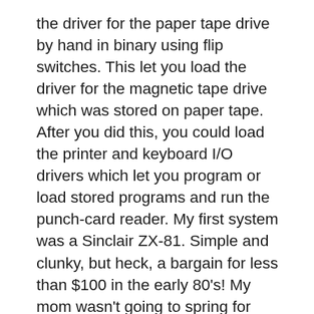the driver for the paper tape drive by hand in binary using flip switches. This let you load the driver for the magnetic tape drive which was stored on paper tape. After you did this, you could load the printer and keyboard I/O drivers which let you program or load stored programs and run the punch-card reader. My first system was a Sinclair ZX-81. Simple and clunky, but heck, a bargain for less than $100 in the early 80's! My mom wasn't going to spring for anything better because she looked at it as just another toy. This kept me amused until my mom remarried and I got access to my stepfather's TRS-80 model III. I loved the two 5.25" disk drives, as the Sinclair's tape storage was a huge pain in the ass. 64K of memory was luxurious as well, but the Sinclair's graphics were better (I had the graphics upgrade: 256 x 192 B/W) He later got rid of it for Tandy's clone of an IBM PC. Wheee, color and a 10M hard drive, which...